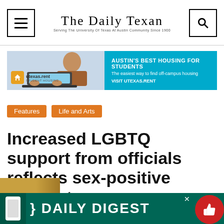The Daily Texan — Serving The University Of Texas At Austin Community Since 1900
[Figure (infographic): Advertisement banner for utexas.rent student housing: Austin's Best Housing For Students — The easiest way to find off-campus housing. VISIT UTEXAS.RENT]
Features
Life and Arts
Increased LGBTQ support from officials reflects sex-positive mindset
[Figure (infographic): Daily Digest promotional banner with phone icon and thumbs-up button]